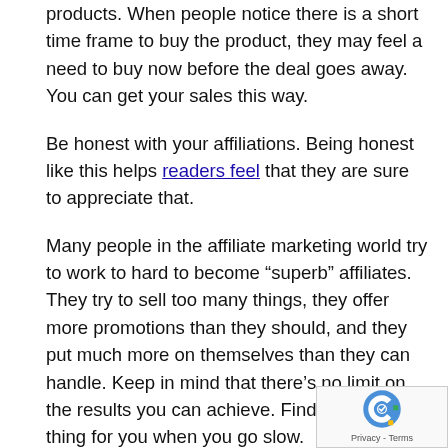products. When people notice there is a short time frame to buy the product, they may feel a need to buy now before the deal goes away. You can get your sales this way.
Be honest with your affiliations. Being honest like this helps readers feel that they are sure to appreciate that.
Many people in the affiliate marketing world try to work to hard to become “superb” affiliates. They try to sell too many things, they offer more promotions than they should, and they put much more on themselves than they can handle. Keep in mind that there’s no limit on the results you can achieve. Find the best thing for you when you go slow.
Trivia questions in banner ads can help direct users to your site. Most visitors cannot abstain from clicking on the banner. You can make your banner even more tempting by tying a special offer to the question.
Lifetime commissions are a rare with affiliate marketing